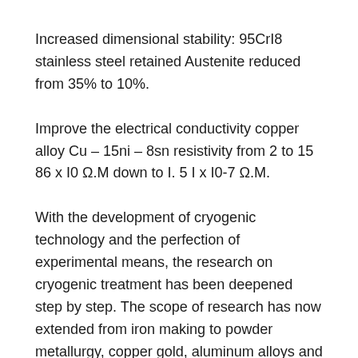Increased dimensional stability: 95CrI8 stainless steel retained Austenite reduced from 35% to 10%.
Improve the electrical conductivity copper alloy Cu – 15ni – 8sn resistivity from 2 to 15 86 x I0 Ω.M down to I. 5 I x I0-7 Ω.M.
With the development of cryogenic technology and the perfection of experimental means, the research on cryogenic treatment has been deepened step by step. The scope of research has now extended from iron making to powder metallurgy, copper gold, aluminum alloys and other non-metallic materials. Cryogenic box application industry throughout the aerospace,